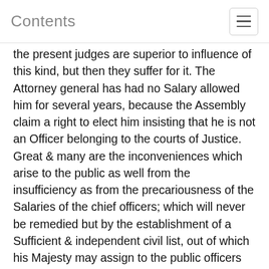Contents
the present judges are superior to influence of this kind, but then they suffer for it. The Attorney general has had no Salary allowed him for several years, because the Assembly claim a right to elect him insisting that he is not an Officer belonging to the courts of Justice. Great & many are the inconveniences which arise to the public as well from the insufficiency as from the precariousness of the Salaries of the chief officers; which will never be remedied but by the establishment of a Sufficient & independent civil list, out of which his Majesty may assign to the public officers such Salaries as the Dignity & Duty of their Offices should require: a regulation extremely wanted in America, for which it would be very easy to provide a proper fund.
17.50 The constitution of the Government